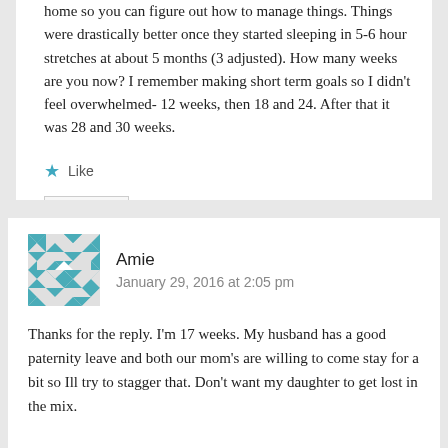home so you can figure out how to manage things. Things were drastically better once they started sleeping in 5-6 hour stretches at about 5 months (3 adjusted). How many weeks are you now? I remember making short term goals so I didn't feel overwhelmed- 12 weeks, then 18 and 24. After that it was 28 and 30 weeks.
Like
REPLY
Amie
January 29, 2016 at 2:05 pm
Thanks for the reply. I'm 17 weeks. My husband has a good paternity leave and both our mom's are willing to come stay for a bit so Ill try to stagger that. Don't want my daughter to get lost in the mix.